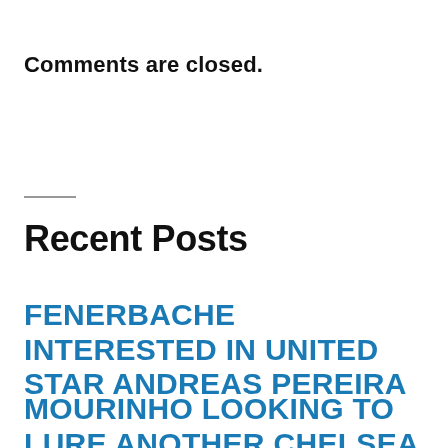Comments are closed.
Recent Posts
FENERBACHE INTERESTED IN UNITED STAR ANDREAS PEREIRA
MOURINHO LOOKING TO LURE ANOTHER CHELSEA STAR TO ROM...